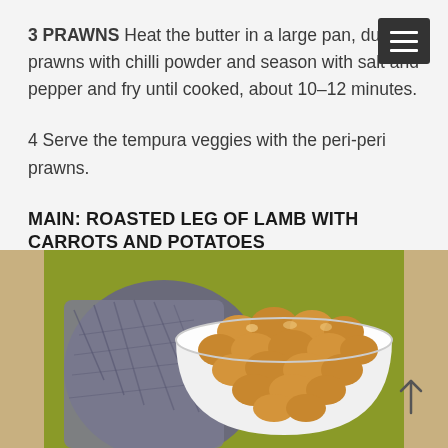3 PRAWNS Heat the butter in a large pan, dust the prawns with chilli powder and season with salt and pepper and fry until cooked, about 10–12 minutes.
4 Serve the tempura veggies with the peri-peri prawns.
MAIN: ROASTED LEG OF LAMB WITH CARROTS AND POTATOES
Serves 6–8
[Figure (photo): A white bowl filled with roasted potatoes or gnocchi, with a blue-grey cloth napkin beside it on a yellow-green surface.]